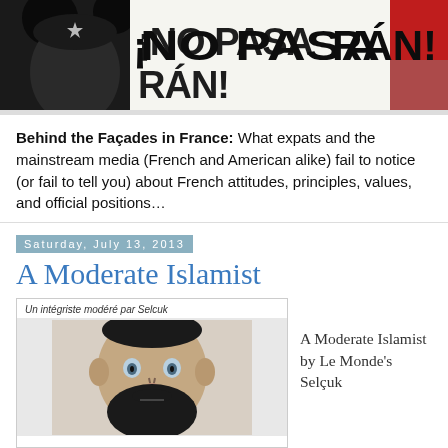[Figure (illustration): ¡No Pasaran! blog banner with Che Guevara/Mickey Mouse silhouette and bold text]
Behind the Façades in France: What expats and the mainstream media (French and American alike) fail to notice (or fail to tell you) about French attitudes, principles, values, and official positions…
Saturday, July 13, 2013
A Moderate Islamist
[Figure (illustration): Cartoon illustration of a bearded man with caption 'Un intégriste modéré par Selcuk']
A Moderate Islamist by Le Monde's Selçuk